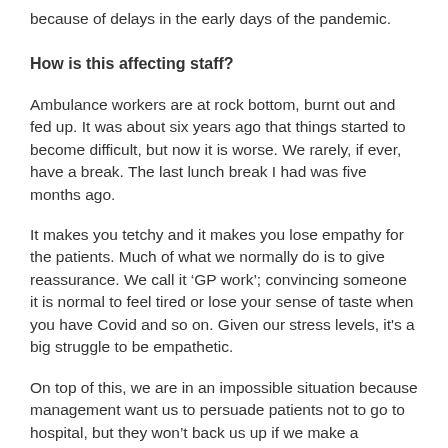because of delays in the early days of the pandemic.
How is this affecting staff?
Ambulance workers are at rock bottom, burnt out and fed up. It was about six years ago that things started to become difficult, but now it is worse. We rarely, if ever, have a break. The last lunch break I had was five months ago.
It makes you tetchy and it makes you lose empathy for the patients. Much of what we normally do is to give reassurance. We call it ‘GP work’; convincing someone it is normal to feel tired or lose your sense of taste when you have Covid and so on. Given our stress levels, it's a big struggle to be empathetic.
On top of this, we are in an impossible situation because management want us to persuade patients not to go to hospital, but they won’t back us up if we make a mistake.